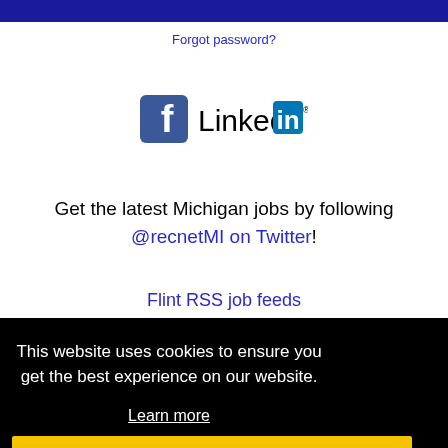Forgot password?
[Figure (logo): Facebook and LinkedIn social media logos side by side]
Get the latest Michigan jobs by following @recnetMI on Twitter!
Flint RSS job feeds
This website uses cookies to ensure you get the best experience on our website. Learn more
Got it!